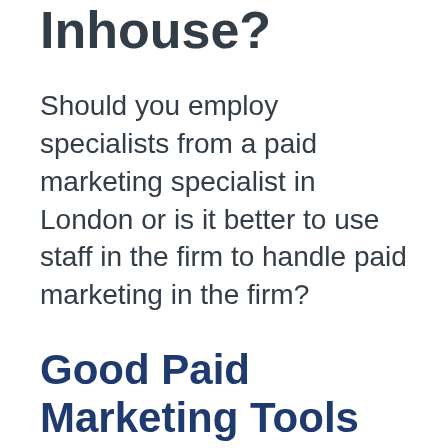Working On This Inhouse?
Should you employ specialists from a paid marketing specialist in London or is it better to use staff in the firm to handle paid marketing in the firm?
Good Paid Marketing Tools
There are some things you need to be aware of when using a paid